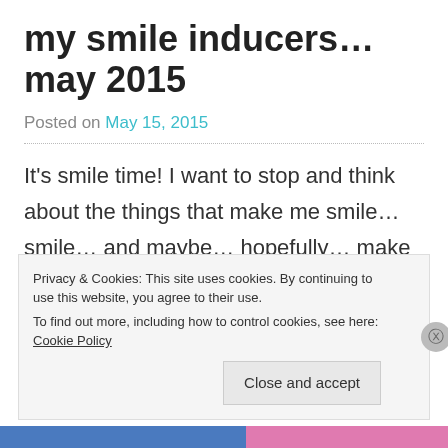my smile inducers… may 2015
Posted on May 15, 2015
It's smile time! I want to stop and think about the things that make me smile… smile… and maybe… hopefully… make you smile… and get you thinking about the things that bring a
Privacy & Cookies: This site uses cookies. By continuing to use this website, you agree to their use.
To find out more, including how to control cookies, see here: Cookie Policy